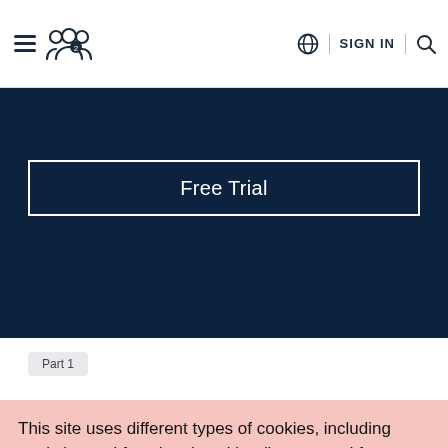Navigation bar with menu, users icon, globe, SIGN IN, search
Free Trial
Part 1
This site uses different types of cookies, including analytics and functional cookies (its own and from other sites). To change your cookie settings or find out more, click here. If you continue browsing our website, you accept these cookies.
I AGREE
LEARN MORE
Reject